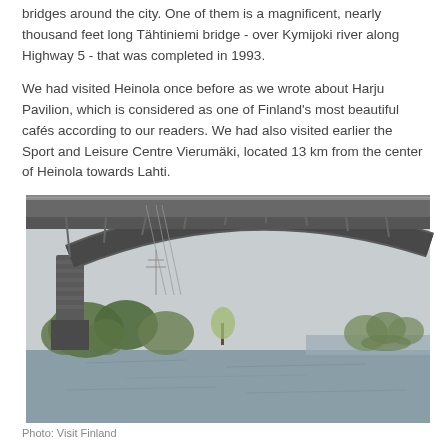bridges around the city. One of them is a magnificent, nearly thousand feet long Tähtiniemi bridge - over Kymijoki river along Highway 5 - that was completed in 1993.
We had visited Heinola once before as we wrote about Harju Pavilion, which is considered as one of Finland's most beautiful cafés according to our readers. We had also visited earlier the Sport and Leisure Centre Vierumäki, located 13 km from the center of Heinola towards Lahti.
[Figure (photo): Photograph of the Tähtiniemi bridge arching over the Kymijoki river. The bridge is a large arch bridge with metal truss structure. Green trees line the riverbank in the background, with calm water below. Overcast sky. The view is taken from below and beside the bridge.]
Photo: Visit Finland